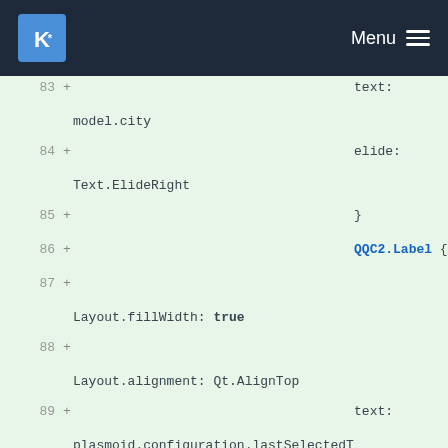KDE Menu
83  +                                    text:
    model.city
84  +                                    elide:
    Text.ElideRight
85  +                                    }
86  +                                    QQC2.Label {
87  +
    Layout.fillWidth: true
88  +
    Layout.alignment: Qt.AlignTop
89  +                                    text:
    plasmoid.configuration.lastSelectedTimezone === model.timeZoneId && configuredTimezoneList.count > 1 ? "Clock is currently using this time zone" : ""
90  +                                    elide:
    Text.ElideRight
91  +                                    font:
    Kirigami.Theme.smallFont